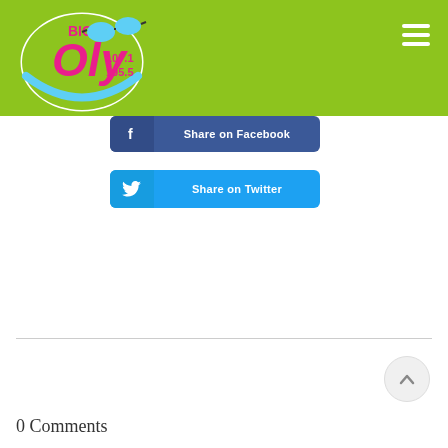[Figure (logo): Big Oly 107.1 105.5 radio station logo — circular logo with sunglasses, pink cursive text 'Oly', 'BIG' above, frequencies 107.1 and 105.5]
Share on Facebook
Share on Twitter
0 Comments